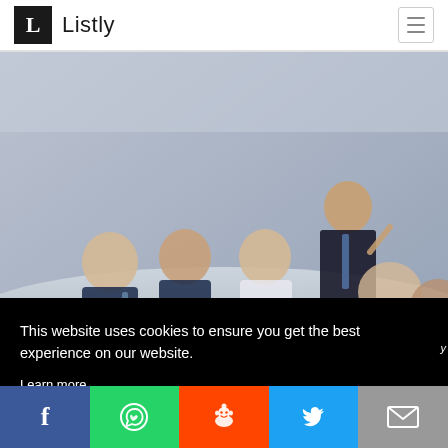L Listly
[Figure (photo): Business meeting scene: group of professionals seated around a conference table, one person standing and presenting, laptops and documents visible, muted blue-grey overlay tone.]
This website uses cookies to ensure you get the best experience on our website.
Learn more
Got it!